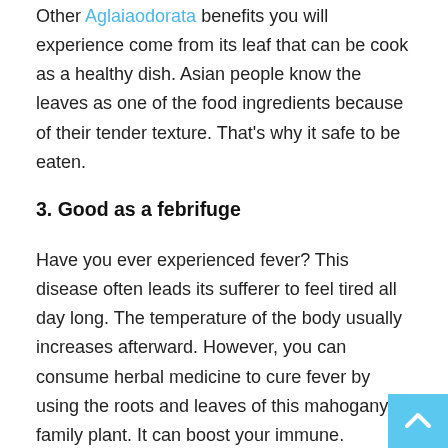Other Aglaiaodorata benefits you will experience come from its leaf that can be cook as a healthy dish. Asian people know the leaves as one of the food ingredients because of their tender texture. That's why it safe to be eaten.
3. Good as a febrifuge
Have you ever experienced fever? This disease often leads its sufferer to feel tired all day long. The temperature of the body usually increases afterward. However, you can consume herbal medicine to cure fever by using the roots and leaves of this mahogany family plant. It can boost your immune.
4. To treat excessive menstruation
Menstruation has been a monthly routine that sometimes could be troublesome for any woman if it occurs excessively. Something herbal is good to cure this health condition. For